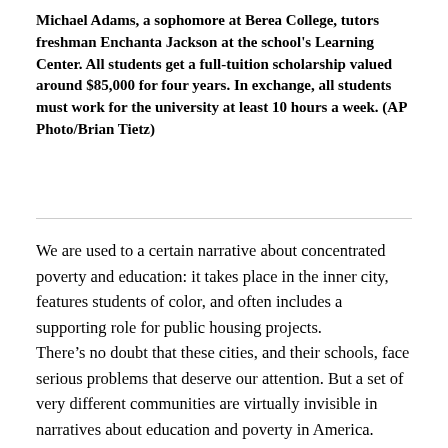Michael Adams, a sophomore at Berea College, tutors freshman Enchanta Jackson at the school's Learning Center. All students get a full-tuition scholarship valued around $85,000 for four years. In exchange, all students must work for the university at least 10 hours a week. (AP Photo/Brian Tietz)
We are used to a certain narrative about concentrated poverty and education: it takes place in the inner city, features students of color, and often includes a supporting role for public housing projects.
There’s no doubt that these cities, and their schools, face serious problems that deserve our attention. But a set of very different communities are virtually invisible in narratives about education and poverty in America. These